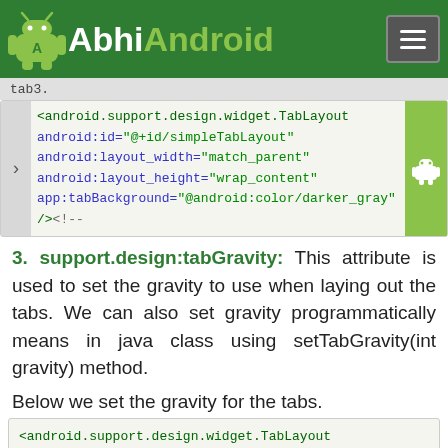AbhiAndroid
[Figure (screenshot): AbhiAndroid website header with green background, Android robot logo, 'AbhiAndroid' text, and hamburger menu button]
tab3.
<android.support.design.widget.TabLayout android:id="@+id/simpleTabLayout" android:layout_width="match_parent" android:layout_height="wrap_content" app:tabBackground="@android:color/darker_gray" /><!--
3. support.design:tabGravity:
This attribute is used to set the gravity to use when laying out the tabs. We can also set gravity programmatically means in java class using setTabGravity(int gravity) method.
Below we set the gravity for the tabs.
<android.support.design.widget.TabLayout android:id="@+id/simpleTabLayout " android:layout_width="match_parent" android:layout_height="wrap_content" app:tabGravity="fill" /><!-- set the gravity for the